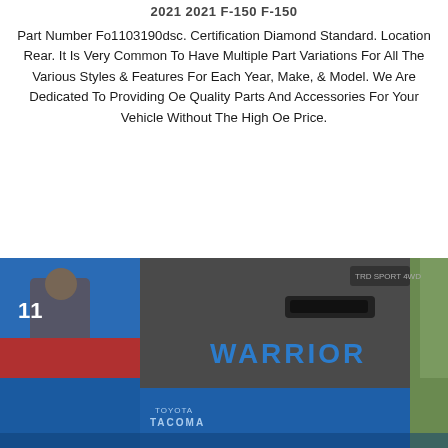2021 2021 F-150 F-150
Part Number Fo1103190dsc. Certification Diamond Standard. Location Rear. It Is Very Common To Have Multiple Part Variations For All The Various Styles & Features For Each Year, Make, & Model. We Are Dedicated To Providing Oe Quality Parts And Accessories For Your Vehicle Without The High Oe Price.
[Figure (photo): Photo of the rear of a Toyota Tacoma truck with blue and gray color scheme featuring 'WARRIOR' branding text on the tailgate area.]